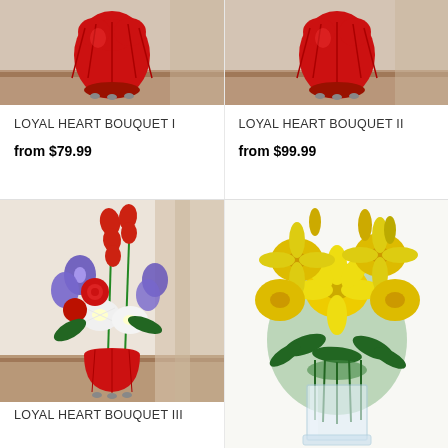[Figure (photo): Loyal Heart Bouquet I - red heart-shaped vase on table, cropped top]
LOYAL HEART BOUQUET I
from $79.99
[Figure (photo): Loyal Heart Bouquet II - red heart-shaped vase on table, cropped top]
LOYAL HEART BOUQUET II
from $99.99
[Figure (photo): Loyal Heart Bouquet III - mixed red, white, blue floral arrangement in red ribbed vase]
LOYAL HEART BOUQUET III
[Figure (photo): Yellow lily bouquet in clear glass vase]